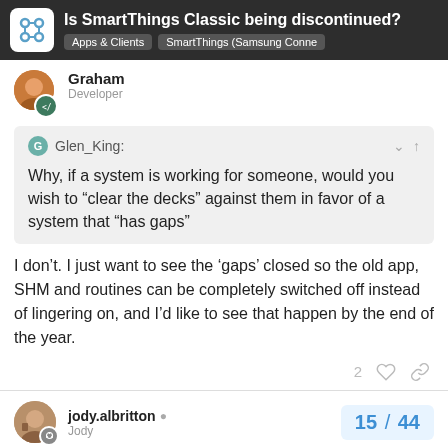Is SmartThings Classic being discontinued? Apps & Clients SmartThings (Samsung Conne
Graham
Developer
Glen_King:
Why, if a system is working for someone, would you wish to “clear the decks” against them in favor of a system that “has gaps”
I don’t. I just want to see the 'gaps' closed so the old app, SHM and routines can be completely switched off instead of lingering on, and I’d like to see that happen by the end of the year.
jody.albritton
Jody
15 / 44